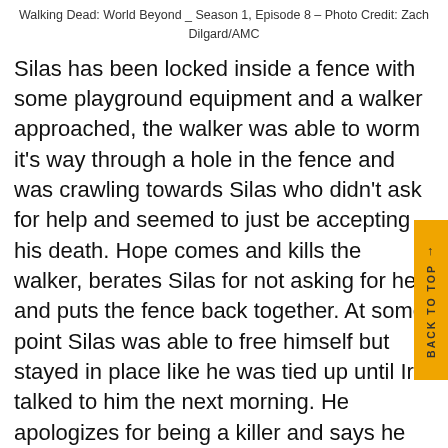Walking Dead: World Beyond _ Season 1, Episode 8 – Photo Credit: Zach Dilgard/AMC
Silas has been locked inside a fence with some playground equipment and a walker approached, the walker was able to worm it's way through a hole in the fence and was crawling towards Silas who didn't ask for help and seemed to just be accepting his death. Hope comes and kills the walker, berates Silas for not asking for help and puts the fence back together. At some point Silas was able to free himself but stayed in place like he was tied up until Iris talked to him the next morning. He apologizes for being a killer and says he will never forget her. Iris lets Silas leave so he can have his fresh start, Elton decides that Silas